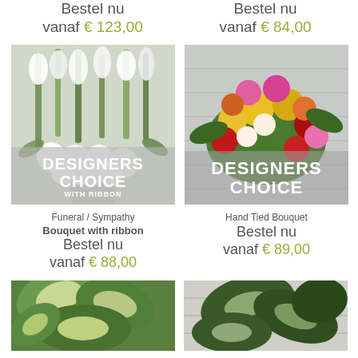Bestel nu
vanaf € 123,00
Bestel nu
vanaf € 84,00
[Figure (photo): White floral funeral/sympathy arrangement with gladiolus and other white flowers, Designer's Choice with ribbon overlay text]
[Figure (photo): Colorful hand tied bouquet with yellow, red, pink roses and mixed flowers, Designer's Choice overlay text]
Funeral / Sympathy
Bouquet with ribbon
Bestel nu
vanaf € 88,00
Hand Tied Bouquet
Bestel nu
vanaf € 89,00
[Figure (photo): Green plant with large variegated leaves, partially visible at bottom of page]
[Figure (photo): Green plant with dark leaves, partially visible at bottom of page]